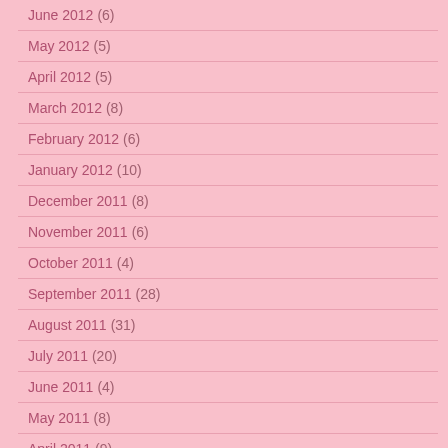June 2012 (6)
May 2012 (5)
April 2012 (5)
March 2012 (8)
February 2012 (6)
January 2012 (10)
December 2011 (8)
November 2011 (6)
October 2011 (4)
September 2011 (28)
August 2011 (31)
July 2011 (20)
June 2011 (4)
May 2011 (8)
April 2011 (9)